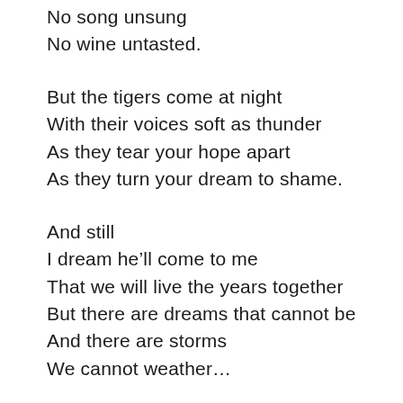No song unsung
No wine untasted.
But the tigers come at night
With their voices soft as thunder
As they tear your hope apart
As they turn your dream to shame.
And still
I dream he’ll come to me
That we will live the years together
But there are dreams that cannot be
And there are storms
We cannot weather…